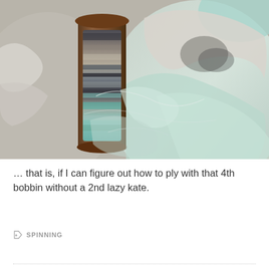[Figure (photo): Close-up photograph of a wooden spinning bobbin wrapped with multicolored yarn (gray, black, teal, beige stripes) surrounded by soft wool roving in white, gray, and pale mint/teal colors on a burlap background.]
… that is, if I can figure out how to ply with that 4th bobbin without a 2nd lazy kate.
SPINNING